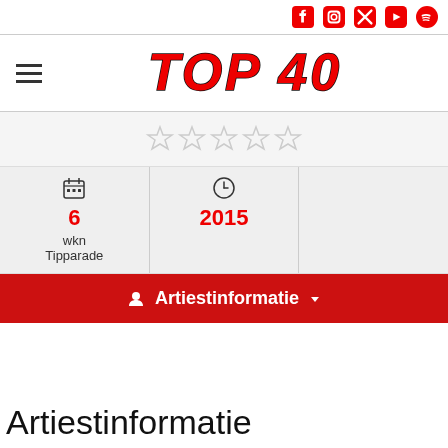Social icons: Facebook, Instagram, Twitter, YouTube, Spotify
[Figure (logo): TOP 40 logo in red italic bold text with black border]
[Figure (infographic): Five empty star rating icons]
|  |  |
| --- | --- |
| 6
wkn
Tipparade | 2015 |
Artiestinformatie
Artiestinformatie